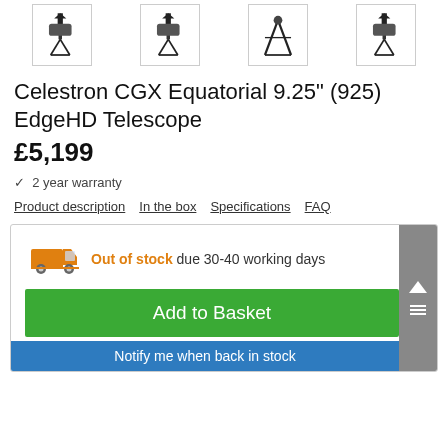[Figure (photo): Row of four telescope product thumbnail images with grey borders]
Celestron CGX Equatorial 9.25" (925) EdgeHD Telescope
£5,199
✓  2 year warranty
Product description   In the box   Specifications   FAQ
Out of stock due 30-40 working days
Add to Basket
Notify me when back in stock